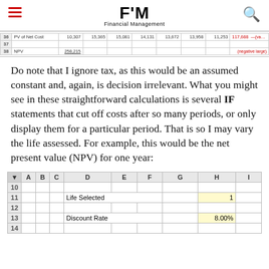FM Financial Management
|  | A | B | C | D | E | F | G | H | I |
| --- | --- | --- | --- | --- | --- | --- | --- | --- | --- |
| 36 | PV of Net Cost |  |  |  | 10,307 | 15,365 | 15,081 | 14,131 | 13,672 | 13,958 | 11,253 | 117,688 | (various) |
| 37 |  |  |  |  |  |  |  |  |  |  |  |  |  |
| 38 | NPV |  |  | 258,215 |  |  |  |  |  |  |  |  | (negative) |
Do note that I ignore tax, as this would be an assumed constant and, again, is decision irrelevant. What you might see in these straightforward calculations is several IF statements that cut off costs after so many periods, or only display them for a particular period. That is so I may vary the life assessed. For example, this would be the net present value (NPV) for one year:
|  | A | B | C | D | E | F | G | H | I |
| --- | --- | --- | --- | --- | --- | --- | --- | --- | --- |
| 10 |  |  |  |  |  |  |  |  |  |
| 11 |  |  |  | Life Selected |  |  |  | 1 |  |
| 12 |  |  |  |  |  |  |  |  |  |
| 13 |  |  |  | Discount Rate |  |  |  | 8.00% |  |
| 14 |  |  |  |  |  |  |  |  |  |